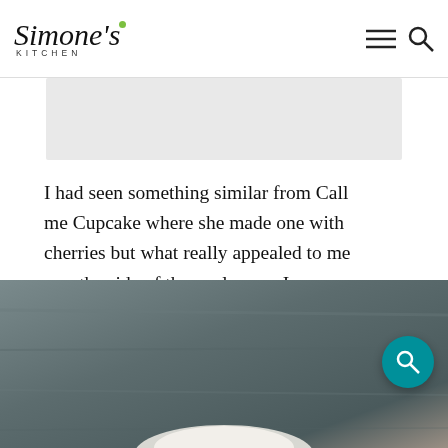Simone's Kitchen
[Figure (screenshot): Gray banner / advertisement placeholder below the header]
I had seen something similar from Call me Cupcake where she made one with cherries but what really appealed to me was the side of the pavlova so I decided to try it myself. She didn't mention how to do it in the recipe so I did some creative thinking and I like the result anyway…
[Figure (photo): Food photo at the bottom of the page showing a dark wooden background with what appears to be a pavlova dessert]